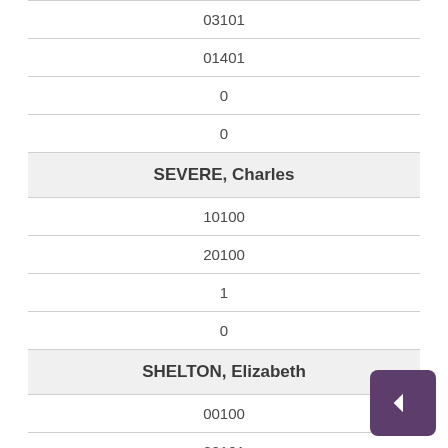| 03101 |
| 01401 |
| 0 |
| 0 |
| SEVERE, Charles |
| 10100 |
| 20100 |
| 1 |
| 0 |
| SHELTON, Elizabeth |
| 00100 |
| 00101 |